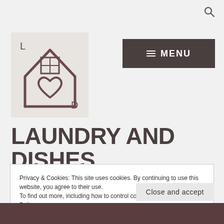[Figure (logo): Laundry and Dishes website logo: a house outline with a grid pattern (window) and a heart inside, with letters L and D, drawn in dark brown on light gray background]
LAUNDRY AND DISHES
Privacy & Cookies: This site uses cookies. By continuing to use this website, you agree to their use.
To find out more, including how to control cookies, see here: Cookie Policy
Close and accept